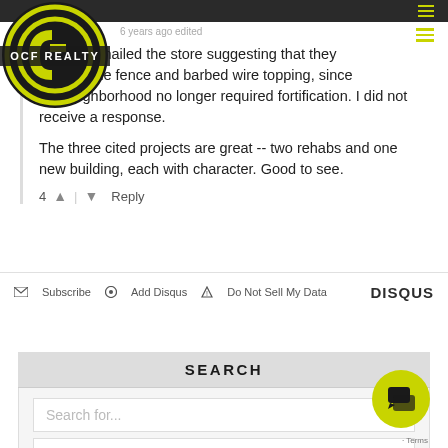[Figure (logo): OCF Realty circular logo with stylized F letter, black and yellow-green colors, with OCF REALTY text overlay]
6 years ago edited
rs ago I emailed the store suggesting that they remove the fence and barbed wire topping, since the neighborhood no longer required fortification. I did not receive a response.
The three cited projects are great -- two rehabs and one new building, each with character. Good to see.
4 | Reply
Subscribe  Add Disqus  Do Not Sell My Data  DISQUS
SEARCH
Search for...
Any Neighborhood